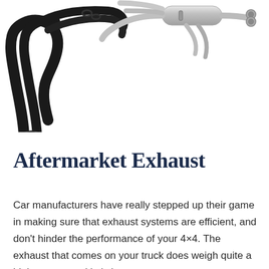[Figure (photo): Aftermarket exhaust system components including black matte exhaust pipes and polished stainless steel exhaust headers/pipes laid out on a white background]
Aftermarket Exhaust
Car manufacturers have really stepped up their game in making sure that exhaust systems are efficient, and don't hinder the performance of your 4×4. The exhaust that comes on your truck does weigh quite a bit however, and let's be